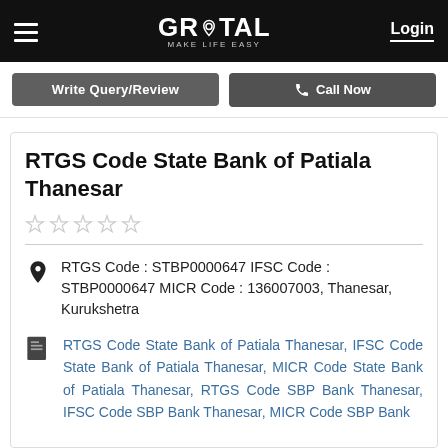GROTAL MAKE LIFE EASY — Login
[Figure (screenshot): Navigation bar with hamburger menu, Grotal logo, and Login button on black background; below it a button row with Write Query/Review and Call Now buttons]
RTGS Code State Bank of Patiala Thanesar
★★★★★ (empty star rating)
RTGS Code : STBP0000647 IFSC Code : STBP0000647 MICR Code : 136007003, Thanesar, Kurukshetra
RTGS Code State Bank of Patiala Thanesar, IFSC Code State Bank of Patiala Thanesar, MICR Code State Bank of Patiala Thanesar, RTGS Code SBP Bank Thanesar, IFSC Code SBP Bank Thanesar, MICR Code SBP Bank